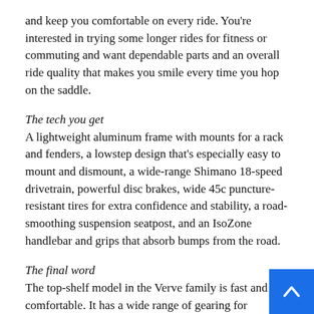and keep you comfortable on every ride. You're interested in trying some longer rides for fitness or commuting and want dependable parts and an overall ride quality that makes you smile every time you hop on the saddle.
The tech you get
A lightweight aluminum frame with mounts for a rack and fenders, a lowstep design that's especially easy to mount and dismount, a wide-range Shimano 18-speed drivetrain, powerful disc brakes, wide 45c puncture-resistant tires for extra confidence and stability, a road-smoothing suspension seatpost, and an IsoZone handlebar and grips that absorb bumps from the road.
The final word
The top-shelf model in the Verve family is fast and comfortable. It has a wide range of gearing for whatever climbs you encounter on your ride, disc brakes that stop in any weather, and it's equipped with design details that keep you comfortable on longer fitness rides and commutes.